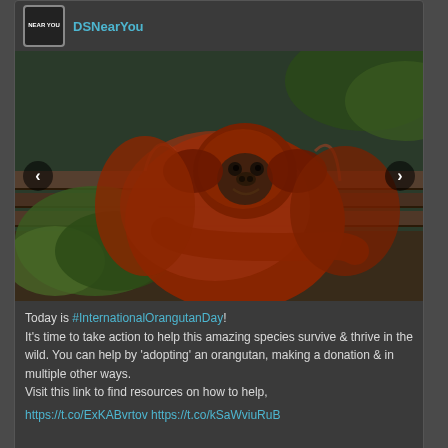DSNearYou
[Figure (photo): An orangutan with reddish-brown fur resting on a wooden structure, looking at camera, green foliage visible, outdoor setting]
Today is #InternationalOrangutanDay!
It's time to take action to help this amazing species survive & thrive in the wild. You can help by 'adopting' an orangutan, making a donation & in multiple other ways.
Visit this link to find resources on how to help,
https://t.co/ExKABvrtov https://t.co/kSaWviuRuB
Posted: Yesterday